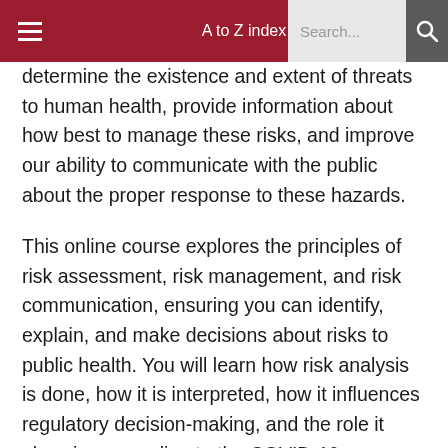A to Z index  Search...
determine the existence and extent of threats to human health, provide information about how best to manage these risks, and improve our ability to communicate with the public about the proper response to these hazards.
This online course explores the principles of risk assessment, risk management, and risk communication, ensuring you can identify, explain, and make decisions about risks to public health. You will learn how risk analysis is done, how it is interpreted, how it influences regulatory decision-making, and the role it plays in responding to the COVID-19 pandemic. This program will also provide you with the knowledge and skills to analyze how environmental hazards impact human health.